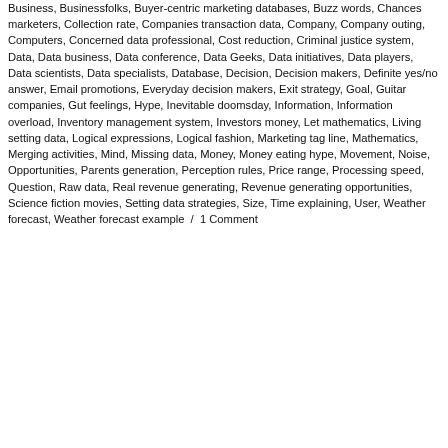Business, Businessfolks, Buyer-centric marketing databases, Buzz words, Chances marketers, Collection rate, Companies transaction data, Company, Company outing, Computers, Concerned data professional, Cost reduction, Criminal justice system, Data, Data business, Data conference, Data Geeks, Data initiatives, Data players, Data scientists, Data specialists, Database, Decision, Decision makers, Definite yes/no answer, Email promotions, Everyday decision makers, Exit strategy, Goal, Guitar companies, Gut feelings, Hype, Inevitable doomsday, Information, Information overload, Inventory management system, Investors money, Let mathematics, Living setting data, Logical expressions, Logical fashion, Marketing tag line, Mathematics, Merging activities, Mind, Missing data, Money, Money eating hype, Movement, Noise, Opportunities, Parents generation, Perception rules, Price range, Processing speed, Question, Raw data, Real revenue generating, Revenue generating opportunities, Science fiction movies, Setting data strategies, Size, Time explaining, User, Weather forecast, Weather forecast example / 1 Comment